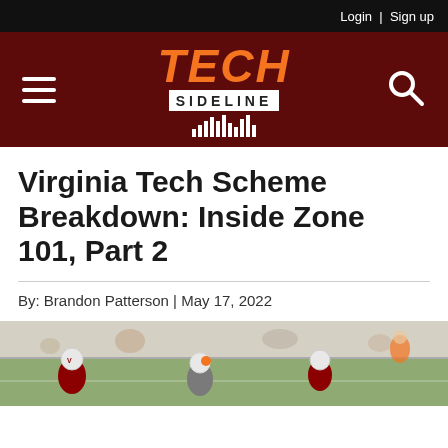Login | Sign up
[Figure (logo): Tech Sideline logo with orange bold TECH text, white SIDELINE box, and vertical bar graphic on dark red background with hamburger menu and search icon]
Virginia Tech Scheme Breakdown: Inside Zone 101, Part 2
By: Brandon Patterson | May 17, 2022
[Figure (photo): Football players in Virginia Tech uniforms on a practice field, players wearing maroon and orange helmets]